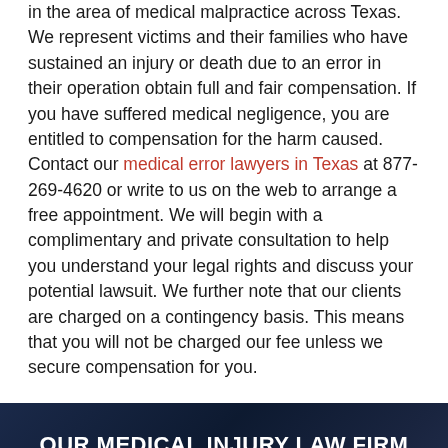in the area of medical malpractice across Texas. We represent victims and their families who have sustained an injury or death due to an error in their operation obtain full and fair compensation. If you have suffered medical negligence, you are entitled to compensation for the harm caused. Contact our medical error lawyers in Texas at 877-269-4620 or write to us on the web to arrange a free appointment. We will begin with a complimentary and private consultation to help you understand your legal rights and discuss your potential lawsuit. We further note that our clients are charged on a contingency basis. This means that you will not be charged our fee unless we secure compensation for you.
OUR MEDICAL INJURY LAW FIRM AREAS OF PRACTICE
Our attorneys have extensive experience examining, preparing, and presenting complicated medical evidence